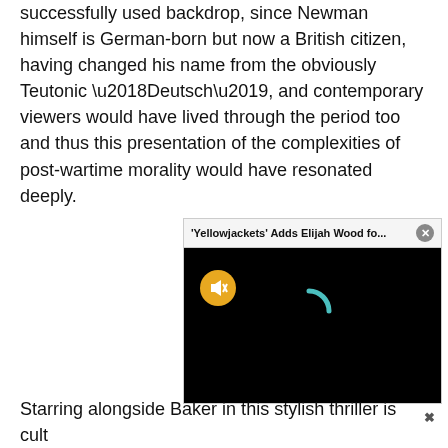successfully used backdrop, since Newman himself is German-born but now a British citizen, having changed his name from the obviously Teutonic ‘Deutsch’, and contemporary viewers would have lived through the period too and thus this presentation of the complexities of post-wartime morality would have resonated deeply.
[Figure (screenshot): Video player widget with title bar reading '‘Yellowjackets’ Adds Elijah Wood fo...' with a close button, a black video screen with a muted (orange) button and a teal loading spinner arc, and an X icon below.]
Starring alongside Baker in this stylish thriller is cult